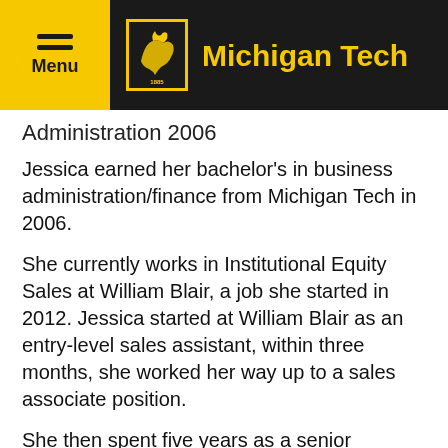Michigan Tech
Administration 2006
Jessica earned her bachelor's in business administration/finance from Michigan Tech in 2006.
She currently works in Institutional Equity Sales at William Blair, a job she started in 2012. Jessica started at William Blair as an entry-level sales assistant, within three months, she worked her way up to a sales associate position.
She then spent five years as a senior associate under William Blair's New York regional head which granted her the opportunity to interact with some of the largest and most sophisticated hedge funds and mutual funds in the world.